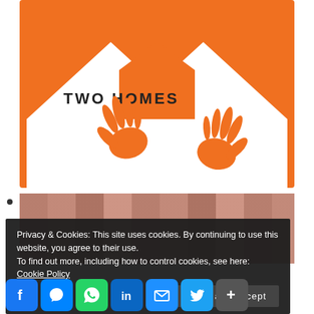[Figure (logo): Two Homes logo: orange background with two overlapping white house outlines and two orange hands reaching up from inside. Text 'TWO HOMES' in dark letters in the center.]
[Figure (photo): Sepia/red-tinted photo of a road or industrial area with buildings in the background.]
Privacy & Cookies: This site uses cookies. By continuing to use this website, you agree to their use.
To find out more, including how to control cookies, see here: Cookie Policy
Close and accept
[Figure (other): Social sharing icons row: Facebook, Messenger, WhatsApp, LinkedIn, Email, Twitter, Plus/More]